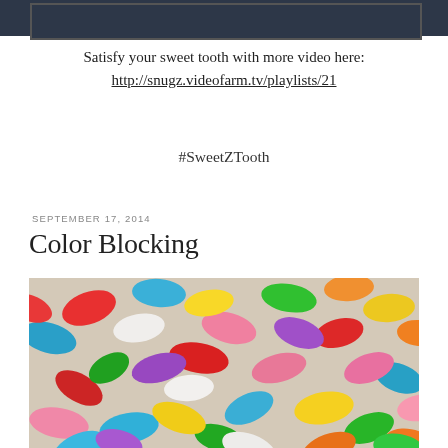[Figure (other): Dark header bar with video player thumbnail at top of page]
Satisfy your sweet tooth with more video here: http://snugz.videofarm.tv/playlists/21
#SweetZTooth
SEPTEMBER 17, 2014
Color Blocking
[Figure (photo): Close-up photo of colorful jelly beans in various colors including red, blue, green, yellow, pink, white, orange, purple]